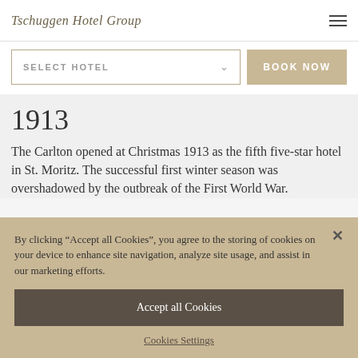Tschuggen Hotel Group
[Figure (screenshot): Hotel booking bar with SELECT HOTEL dropdown and BOOK NOW button]
1913
The Carlton opened at Christmas 1913 as the fifth five-star hotel in St. Moritz. The successful first winter season was overshadowed by the outbreak of the First World War.
By clicking "Accept all Cookies", you agree to the storing of cookies on your device to enhance site navigation, analyze site usage, and assist in our marketing efforts.
Accept all Cookies
Cookies Settings